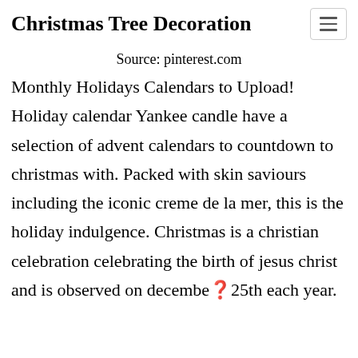Christmas Tree Decoration
Source: pinterest.com
Monthly Holidays Calendars to Upload! Holiday calendar Yankee candle have a selection of advent calendars to countdown to christmas with. Packed with skin saviours including the iconic creme de la mer, this is the holiday indulgence. Christmas is a christian celebration celebrating the birth of jesus christ and is observed on december❉25th each year.